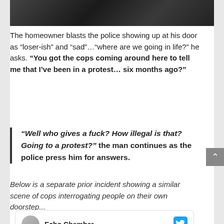[Figure (photo): Dark photograph strip at top of page]
The homeowner blasts the police showing up at his door as “loser-ish” and “sad”...“where are we going in life?” he asks. “You got the cops coming around here to tell me that I’ve been in a protest… six months ago?”
“Well who gives a fuck? How illegal is that? Going to a protest?” the man continues as the police press him for answers.
Below is a separate prior incident showing a similar scene of cops interrogating people on their own doorstep...
Echo Chamber